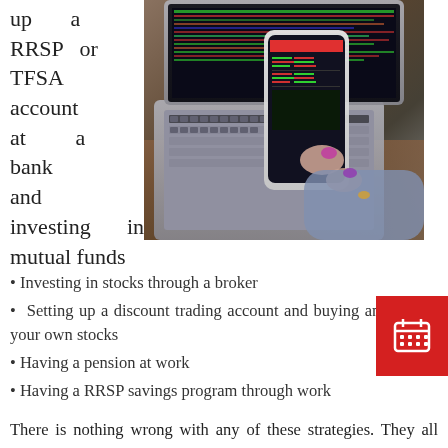up a RRSP or TFSA account at a bank and investing in mutual funds
[Figure (photo): Person using a smartphone showing financial/stock data while sitting at a laptop on a wooden desk]
Investing in stocks through a broker
Setting up a discount trading account and buying and selling your own stocks
Having a pension at work
Having a RRSP savings program through work
There is nothing wrong with any of these strategies. They all have pros and cons but ultimately, they are helping you save money towards your goal of a great retirement. That is